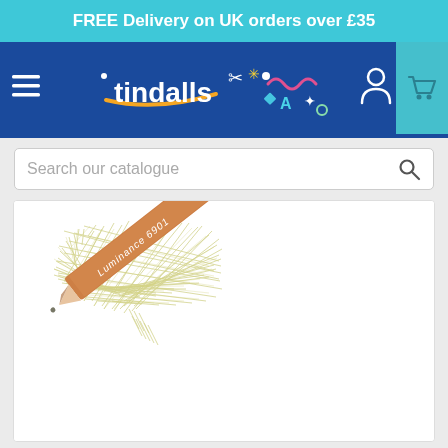FREE Delivery on UK orders over £35
[Figure (logo): Tindalls logo with colorful art supplies graphic on dark blue navigation bar with hamburger menu, person icon, and shopping cart icon]
Search our catalogue
[Figure (photo): A Caran d'Ache Luminance 6901 colored pencil in olive/sage green color, shown diagonally with a swatch of the pencil color scribbled in the upper left. The pencil body is natural wood/orange-brown with white text.]